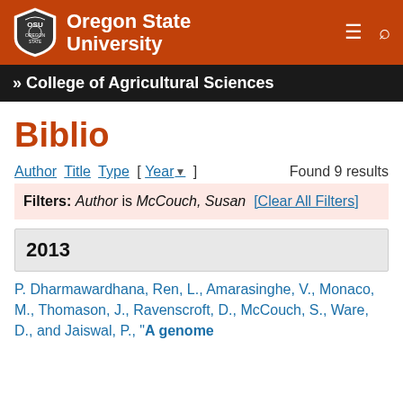[Figure (logo): Oregon State University logo with shield and text on red background with menu and search icons]
» College of Agricultural Sciences
Biblio
Author Title Type [ Year▾ ]    Found 9 results
Filters: Author is McCouch, Susan [Clear All Filters]
2013
P. Dharmawardhana, Ren, L., Amarasinghe, V., Monaco, M., Thomason, J., Ravenscroft, D., McCouch, S., Ware, D., and Jaiswal, P., "A genome